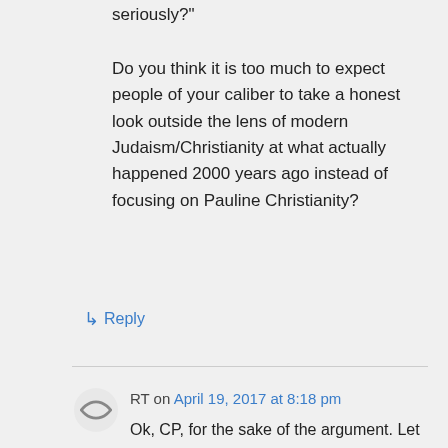seriously?"
Do you think it is too much to expect people of your caliber to take a honest look outside the lens of modern Judaism/Christianity at what actually happened 2000 years ago instead of focusing on Pauline Christianity?
↳ Reply
RT on April 19, 2017 at 8:18 pm
Ok, CP, for the sake of the argument. Let say you were